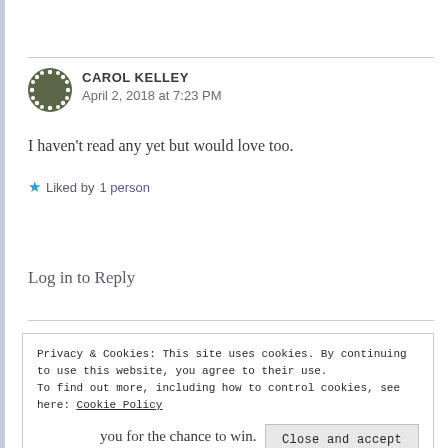[Figure (illustration): Circular avatar icon with dark olive/grey background and dotted white pattern]
CAROL KELLEY
April 2, 2018 at 7:23 PM
I haven't read any yet but would love too.
Liked by 1 person
Log in to Reply
Privacy & Cookies: This site uses cookies. By continuing to use this website, you agree to their use.
To find out more, including how to control cookies, see here: Cookie Policy
Close and accept
you for the chance to win.